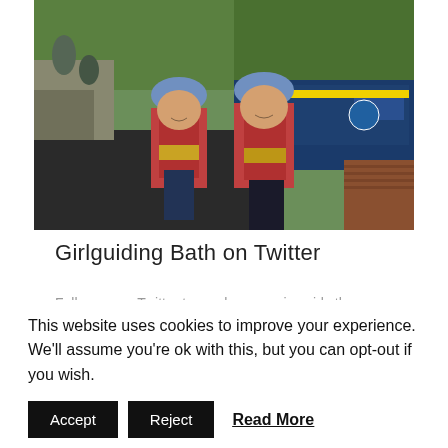[Figure (photo): Two young girls wearing blue caps and red life jackets smiling near a canal with a narrowboat in the background. Another person visible on steps in the background. Outdoor setting near a canal lock.]
Girlguiding Bath on Twitter
Follow us on Twitter to see how we give girls the chance to discover their full potential and...
This website uses cookies to improve your experience. We'll assume you're ok with this, but you can opt-out if you wish.
Accept   Reject   Read More